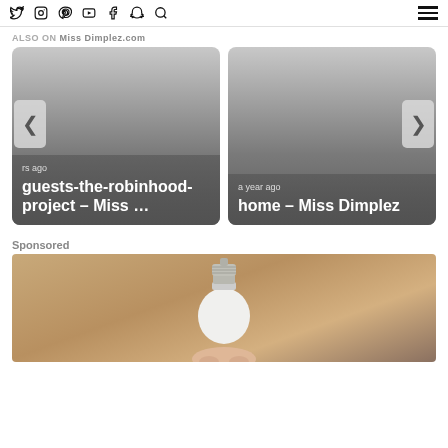Twitter Instagram Pinterest YouTube Facebook Snapchat Search [hamburger menu]
ALSO ON Miss Dimplez.com
[Figure (screenshot): Two content cards side by side. Left card shows text: 'rs ago' and 'guests-the-robinhood-project – Miss …'. Right card shows text: 'a year ago' and 'home – Miss Dimplez'. Left and right navigation arrows visible.]
Sponsored
[Figure (photo): A hand holding a white light bulb against a tan/brown background.]